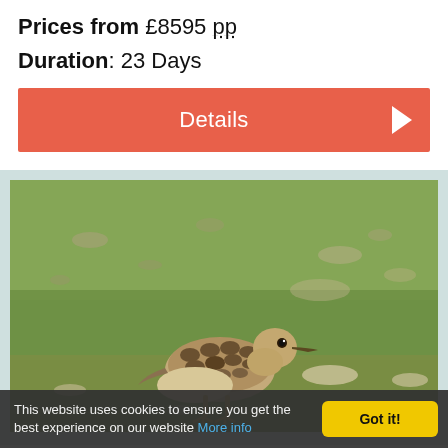Prices from £8595 pp
Duration: 23 Days
Details
[Figure (photo): A buff-coloured shorebird (buff-breasted sandpiper) walking on short grass, viewed from the side, with a blurred green grassy background with scattered stones]
This website uses cookies to ensure you get the best experience on our website More info Got it!